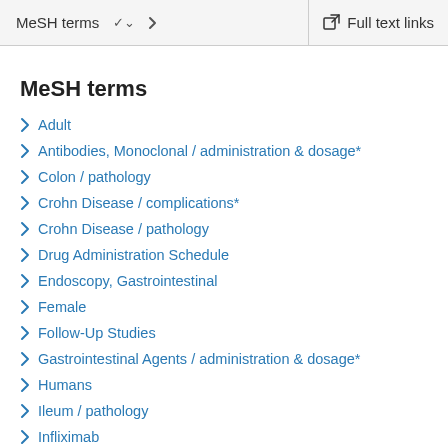MeSH terms   Full text links
MeSH terms
Adult
Antibodies, Monoclonal / administration & dosage*
Colon / pathology
Crohn Disease / complications*
Crohn Disease / pathology
Drug Administration Schedule
Endoscopy, Gastrointestinal
Female
Follow-Up Studies
Gastrointestinal Agents / administration & dosage*
Humans
Ileum / pathology
Infliximab
Intestinal Mucosa / pathology*